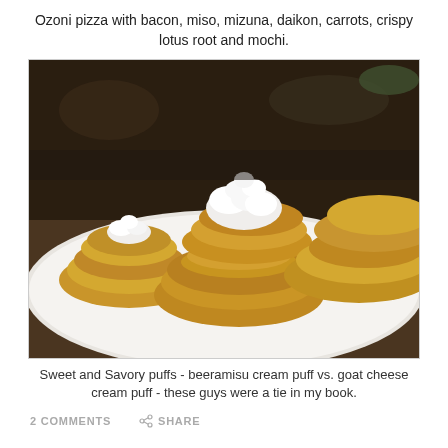Ozoni pizza with bacon, miso, mizuna, daikon, carrots, crispy lotus root and mochi.
[Figure (photo): Close-up photo of cream puffs on a white plate — sweet and savory puffs with whipped cream on top of the pastry bases]
Sweet and Savory puffs - beeramisu cream puff vs. goat cheese cream puff - these guys were a tie in my book.
2 COMMENTS   SHARE